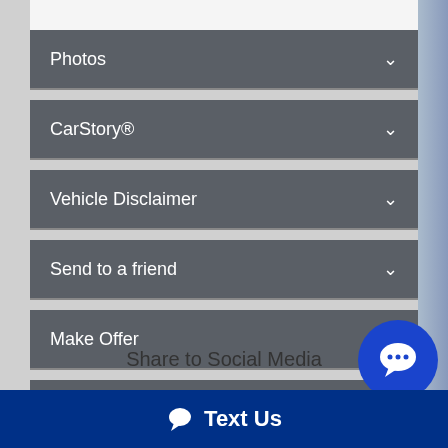Photos
CarStory®
Vehicle Disclaimer
Send to a friend
Make Offer
Printable Brochure
Share to Social Media
Text Us